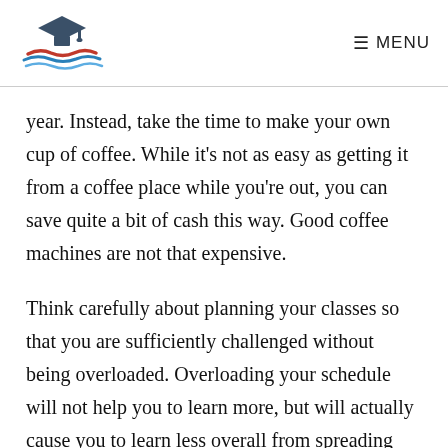[Figure (logo): Education logo: graduation cap on top of an open book with red and blue wave lines beneath, styled in dark teal/slate color]
≡ MENU
year. Instead, take the time to make your own cup of coffee. While it's not as easy as getting it from a coffee place while you're out, you can save quite a bit of cash this way. Good coffee machines are not that expensive.
Think carefully about planning your classes so that you are sufficiently challenged without being overloaded. Overloading your schedule will not help you to learn more, but will actually cause you to learn less overall from spreading yourself